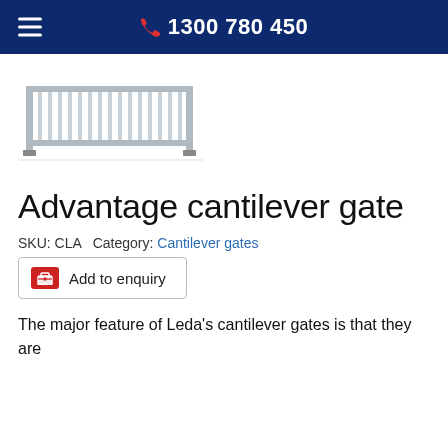1300 780 450
[Figure (illustration): Product illustration of a cantilever gate (sliding gate with vertical bars and support posts)]
Advantage cantilever gate
SKU: CLA  Category: Cantilever gates
Add to enquiry
The major feature of Leda's cantilever gates is that they are